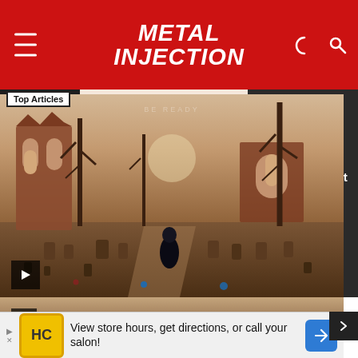[Figure (logo): Metal Injection logo in bold white italic text on red header bar with hamburger menu on left and moon/search icons on right]
Top Articles
[Figure (photo): Featured article image: smiling man with beard in black t-shirt standing in front of colorful artworks. Top Articles badge, playback controls, red arrow button.]
Chroma Is Making Art That Blossoms | Northern Clutch
[Figure (photo): Gothic oil painting style image of a graveyard with church ruins, bare trees, tombstones, and a cloaked figure under a hazy sky]
[Figure (infographic): Advertisement banner: HC logo, text 'View store hours, get directions, or call your salon!' with blue navigation arrow on right]
Bony...